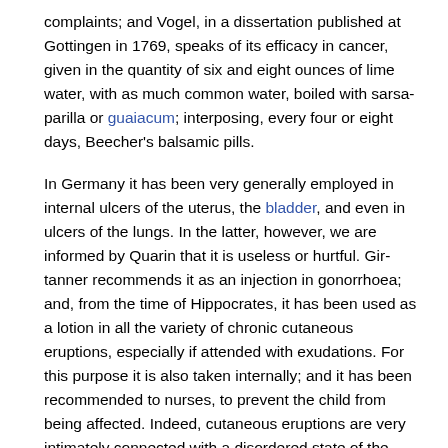complaints; and Vogel, in a dissertation published at Gottingen in 1769, speaks of its efficacy in cancer, given in the quantity of six and eight ounces of lime water, with as much common water, boiled with sarsa-parilla or guaiacum; interposing, every four or eight days, Beecher's balsamic pills.
In Germany it has been very generally employed in internal ulcers of the uterus, the bladder, and even in ulcers of the lungs. In the latter, however, we are informed by Quarin that it is useless or hurtful. Girtanner recommends it as an injection in gonorrhoea; and, from the time of Hippocrates, it has been used as a lotion in all the variety of chronic cutaneous eruptions, especially if attended with exudations. For this purpose it is also taken internally; and it has been recommended to nurses, to prevent the child from being affected. Indeed, cutaneous eruptions are very intimately connected with a disordered state of the stomach, and often with a redundant acid. As an astringent it has been applied externally with a sponge to dropsical swellings; and Fabricius, ab Aqua pendente, informs us, that he cured an ascites by frequently applying a sponge moistened with lime water to the abdomen, and confining it with a tight bandage. Of its lithontriptic power we have spoken at some length in the article